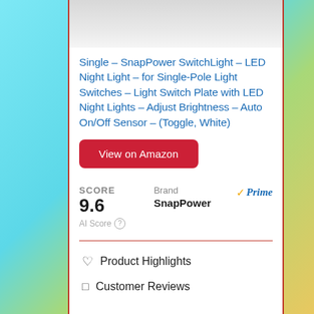[Figure (photo): Product image of SnapPower SwitchLight with gray/silver gradient background]
Single – SnapPower SwitchLight – LED Night Light – for Single-Pole Light Switches – Light Switch Plate with LED Night Lights – Adjust Brightness – Auto On/Off Sensor – (Toggle, White)
View on Amazon
SCORE
9.6
AI Score
Brand
SnapPower
Prime
♡ Product Highlights
☐ Customer Reviews